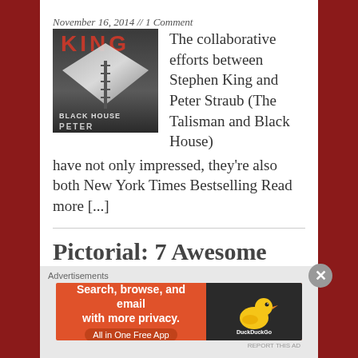November 16, 2014 // 1 Comment
[Figure (photo): Book cover of Black House by Stephen King and Peter Straub — dark image with metallic/silver shape and ladder against a stormy sky, with title text visible]
The collaborative efforts between Stephen King and Peter Straub (The Talisman and Black House) have not only impressed, they're also both New York Times Bestselling Read more [...]
Pictorial: 7 Awesome
[Figure (infographic): DuckDuckGo advertisement banner: 'Search, browse, and email with more privacy. All in One Free App' with DuckDuckGo logo on dark right panel]
Advertisements